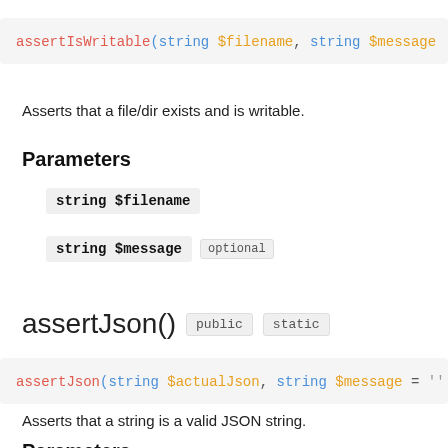assertIsWritable(string $filename, string $message
Asserts that a file/dir exists and is writable.
Parameters
string $filename
string $message  optional
assertJson()  public  static
assertJson(string $actualJson, string $message = ''
Asserts that a string is a valid JSON string.
Parameters